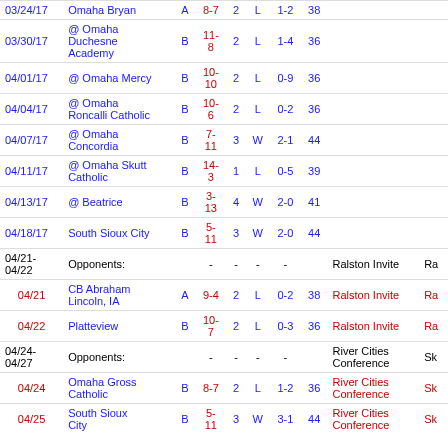| Date | Opponent | Loc | Score | Inn | W/L | Record | Attendance | Tournament | Site |
| --- | --- | --- | --- | --- | --- | --- | --- | --- | --- |
| 03/24/17 | Omaha Bryan | A | 8-7 | 2 | L | 1-2 | 38 |  |  |
| 03/30/17 | @ Omaha Duchesne Academy | B | 11-8 | 2 | L | 1-4 | 36 |  |  |
| 04/01/17 | @ Omaha Mercy | B | 10-10 | 2 | L | 0-9 | 36 |  |  |
| 04/04/17 | @ Omaha Roncalli Catholic | B | 10-6 | 2 | L | 0-2 | 36 |  |  |
| 04/07/17 | @ Omaha Concordia | B | 7-11 | 3 | W | 2-1 | 44 |  |  |
| 04/11/17 | @ Omaha Skutt Catholic | B | 14-3 | 1 | L | 0-5 | 39 |  |  |
| 04/13/17 | @ Beatrice | B | 3-13 | 4 | W | 2-0 | 41 |  |  |
| 04/18/17 | South Sioux City | B | 5-11 | 3 | W | 2-0 | 44 |  |  |
| 04/21-04/22 | Opponents: |  | - | - | - | - |  | Ralston Invite | Ra |
| 04/21 | CB Abraham Lincoln, IA | A | 9-4 | 2 | L | 0-2 | 38 | Ralston Invite | Ra |
| 04/22 | Platteview | B | 10-7 | 2 | L | 0-3 | 36 | Ralston Invite | Ra |
| 04/24-04/27 | Opponents: |  | - | - | - | - |  | River Cities Conference | Sk |
| 04/24 | Omaha Gross Catholic | B | 8-7 | 2 | L | 1-2 | 36 | River Cities Conference | Sk |
| 04/25 | South Sioux City | B | 5-11 | 3 | W | 3-1 | 44 | River Cities Conference | Sk |